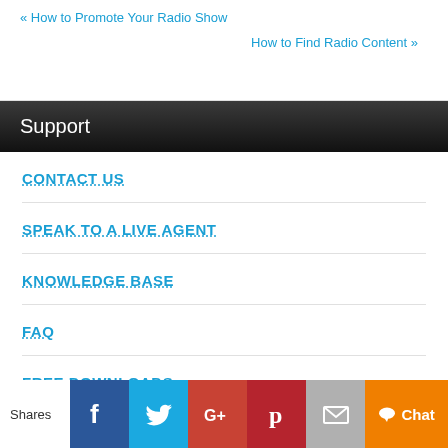« How to Promote Your Radio Show
How to Find Radio Content »
Support
CONTACT US
SPEAK TO A LIVE AGENT
KNOWLEDGE BASE
FAQ
FREE DOWNLOADS
VIDEO TUTORIALS
Shares | Facebook | Twitter | Google+ | Pinterest | Email | Chat